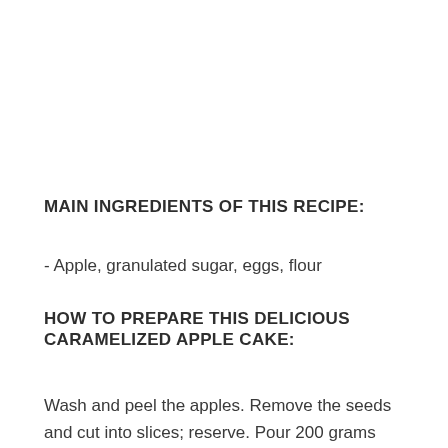MAIN INGREDIENTS OF THIS RECIPE:
- Apple, granulated sugar, eggs, flour
HOW TO PREPARE THIS DELICIOUS CARAMELIZED APPLE CAKE:
Wash and peel the apples. Remove the seeds and cut into slices; reserve. Pour 200 grams (about 1